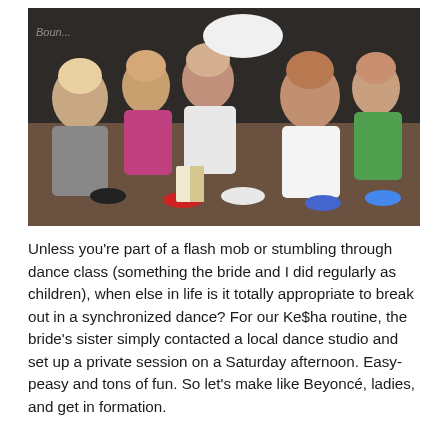[Figure (photo): Group photo of women in athletic wear posing together in a dance studio, crouching and kneeling on a wooden floor. Some wear black leggings and white or colorful tops. A watermark is partially visible in the upper-left corner.]
Unless you're part of a flash mob or stumbling through dance class (something the bride and I did regularly as children), when else in life is it totally appropriate to break out in a synchronized dance? For our Ke$ha routine, the bride's sister simply contacted a local dance studio and set up a private session on a Saturday afternoon. Easy-peasy and tons of fun. So let's make like Beyoncé, ladies, and get in formation.